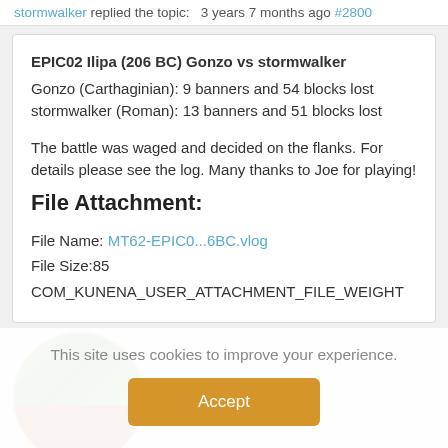stormwalker replied the topic:   3 years 7 months ago #2800
EPIC02 Ilipa (206 BC) Gonzo vs stormwalker
Gonzo (Carthaginian): 9 banners and 54 blocks lost
stormwalker (Roman): 13 banners and 51 blocks lost

The battle was waged and decided on the flanks. For details please see the log. Many thanks to Joe for playing!
File Attachment:
File Name: MT62-EPIC0...6BC.vlog
File Size:85
COM_KUNENA_USER_ATTACHMENT_FILE_WEIGHT
[Figure (photo): Circular avatar image showing a profile picture with green foliage on top and brown/red tones on bottom, partially obscured by cookie consent overlay]
This site uses cookies to improve your experience.
Accept